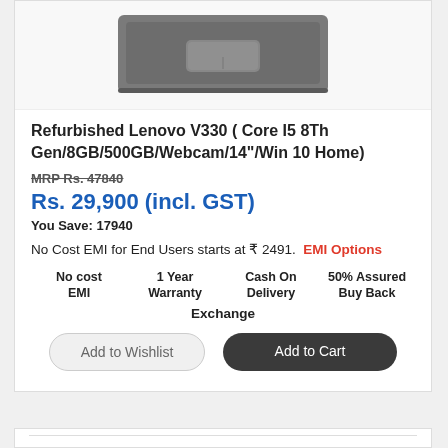[Figure (photo): Bottom portion of a gray Lenovo V330 laptop showing the trackpad area on a white/light gray background]
Refurbished Lenovo V330 ( Core I5 8Th Gen/8GB/500GB/Webcam/14"/Win 10 Home)
MRP Rs. 47840
Rs. 29,900 (incl. GST)
You Save: 17940
No Cost EMI for End Users starts at ₹ 2491.  EMI Options
No cost EMI
1 Year Warranty
Cash On Delivery
50% Assured Buy Back
Exchange
Add to Wishlist
Add to Cart